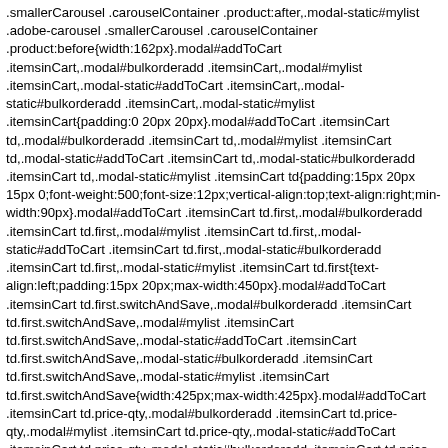.smallerCarousel .carouselContainer .product:after,.modal-static#mylist .adobe-carousel .smallerCarousel .carouselContainer .product:before{width:162px}.modal#addToCart .itemsinCart,.modal#bulkorderadd .itemsinCart,.modal#mylist .itemsinCart,.modal-static#addToCart .itemsinCart,.modal-static#bulkorderadd .itemsinCart,.modal-static#mylist .itemsinCart{padding:0 20px 20px}.modal#addToCart .itemsinCart td,.modal#bulkorderadd .itemsinCart td,.modal#mylist .itemsinCart td,.modal-static#addToCart .itemsinCart td,.modal-static#bulkorderadd .itemsinCart td,.modal-static#mylist .itemsinCart td{padding:15px 20px 15px 0;font-weight:500;font-size:12px;vertical-align:top;text-align:right;min-width:90px}.modal#addToCart .itemsinCart td.first,.modal#bulkorderadd .itemsinCart td.first,.modal#mylist .itemsinCart td.first,.modal-static#addToCart .itemsinCart td.first,.modal-static#bulkorderadd .itemsinCart td.first,.modal-static#mylist .itemsinCart td.first{text-align:left;padding:15px 20px;max-width:450px}.modal#addToCart .itemsinCart td.first.switchAndSave,.modal#bulkorderadd .itemsinCart td.first.switchAndSave,.modal#mylist .itemsinCart td.first.switchAndSave,.modal-static#addToCart .itemsinCart td.first.switchAndSave,.modal-static#bulkorderadd .itemsinCart td.first.switchAndSave,.modal-static#mylist .itemsinCart td.first.switchAndSave{width:425px;max-width:425px}.modal#addToCart .itemsinCart td.price-qty,.modal#bulkorderadd .itemsinCart td.price-qty,.modal#mylist .itemsinCart td.price-qty,.modal-static#addToCart .itemsinCart td.price-qty,.modal-static#bulkorderadd .itemsinCart td.price-qty,.modal-static#mylist .itemsinCart td.price-qty{text-align:left}.modal#addToCart .itemsinCart td.total-price,.modal#bulkorderadd .itemsinCart td.total-price,.modal#mylist .itemsinCart td.total-price,.modal-static#addToCart .itemsinCart td.total-price,.modal-static#bulkorderadd .itemsinCart td.total-price,.modal-static#mylist .itemsinCart td.total-price{vertical-